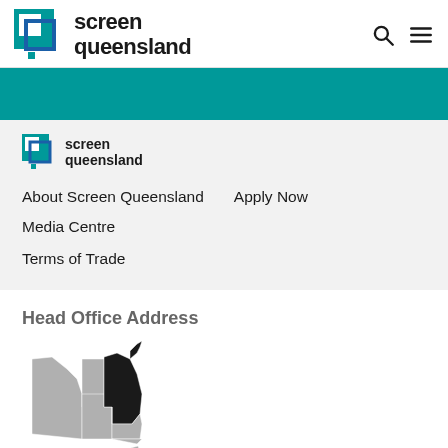[Figure (logo): Screen Queensland logo with teal square icon and bold text]
[Figure (logo): Screen Queensland small logo in sidebar]
About Screen Queensland
Apply Now
Media Centre
Terms of Trade
Head Office Address
[Figure (map): Map of Australia with Queensland state highlighted in black]